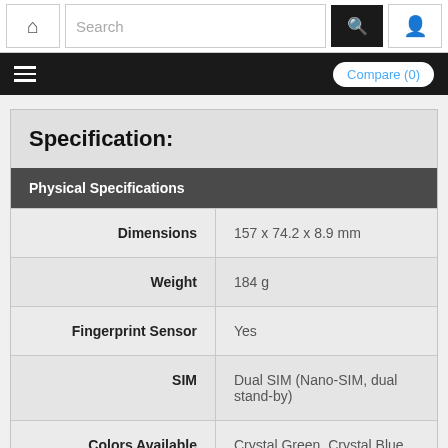Search | Compare (0)
Specification:
| Specification | Value |
| --- | --- |
| Physical Specifications |  |
| Dimensions | 157 x 74.2 x 8.9 mm |
| Weight | 184 g |
| Fingerprint Sensor | Yes |
| SIM | Dual SIM (Nano-SIM, dual stand-by) |
| Colors Available | Crystal Green, Crystal Blue |
| Display Features |  |
| Type | IPS LCD capacitive touchscreen |